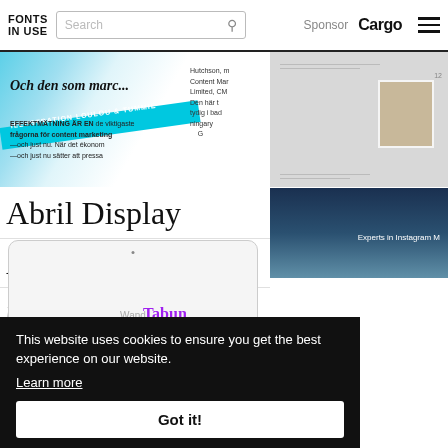FONTS IN USE | Search | Sponsor Cargo
[Figure (screenshot): Left image strip showing magazine/print excerpt with Swedish text and cyan graphic elements]
[Figure (screenshot): Right image strip showing book/catalog page with small portrait photo on grey background]
Abril Display
Neuzeit-Grot.
Abril Text
Playfair Display
unidentified type
[Figure (screenshot): Bottom left preview showing app or website interface on white/light background]
[Figure (screenshot): Bottom right preview showing ocean/water background with Instagram Marketing text]
This website uses cookies to ensure you get the best experience on our website. Learn more
Got it!
Wand
Tabun